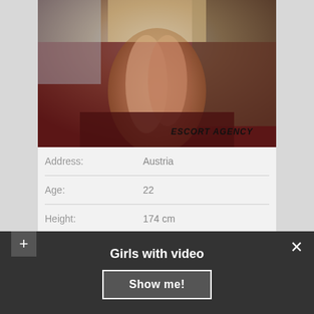[Figure (photo): Photo of a person sitting in an ornate red chair, with text watermark 'ESCORT AGENCY' in the lower right corner]
| Address: | Austria |
| Age: | 22 |
| Height: | 174 cm |
| Body weight: | 58 |
Girls with video
Show me!